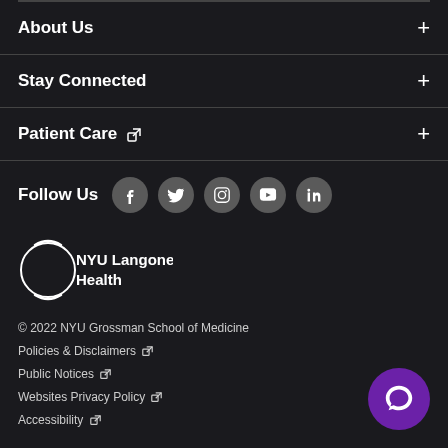About Us +
Stay Connected +
Patient Care ↗ +
Follow Us
[Figure (logo): NYU Langone Health logo — circular swoosh outline with text NYU Langone Health inside]
© 2022 NYU Grossman School of Medicine
Policies & Disclaimers ↗
Public Notices ↗
Websites Privacy Policy ↗
Accessibility ↗